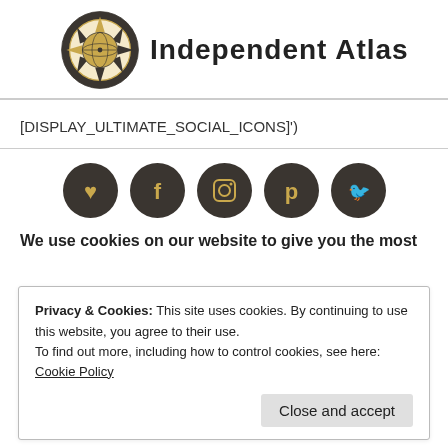[Figure (logo): Independent Atlas logo: compass rose with globe inside a dark circular border, gold and dark grey coloring, with site title 'Independent Atlas' in bold stylized font]
[DISPLAY_ULTIMATE_SOCIAL_ICONS]')
[Figure (illustration): Row of 5 dark grey circular social media icon buttons with gold icons: Bloglovin, Facebook, Instagram, Pinterest, Twitter]
We use cookies on our website to give you the most
Privacy & Cookies: This site uses cookies. By continuing to use this website, you agree to their use.
To find out more, including how to control cookies, see here: Cookie Policy
Close and accept